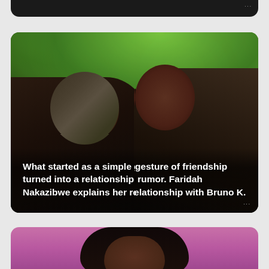[Figure (screenshot): Top of a dark card/panel, partial view with three dots menu icon in top right]
[Figure (photo): Photo of two people - a woman wearing a hijab on the left and a man on the right - standing outdoors in front of green foliage. White bold text overlay reads: What started as a simple gesture of friendship turned into a relationship rumor. Faridah Nakazibwe explains her relationship with Bruno K.]
What started as a simple gesture of friendship turned into a relationship rumor. Faridah Nakazibwe explains her relationship with Bruno K.
[Figure (photo): Bottom portion of a card showing a woman with dark hair against a pink/magenta background, cropped at the top of the page]